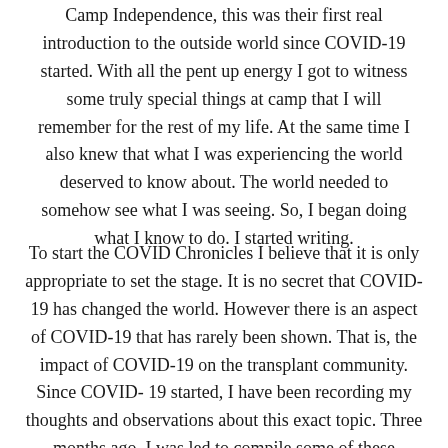Camp Independence, this was their first real introduction to the outside world since COVID-19 started. With all the pent up energy I got to witness some truly special things at camp that I will remember for the rest of my life. At the same time I also knew that what I was experiencing the world deserved to know about. The world needed to somehow see what I was seeing. So, I began doing what I know to do. I started writing.
To start the COVID Chronicles I believe that it is only appropriate to set the stage. It is no secret that COVID-19 has changed the world. However there is an aspect of COVID-19 that has rarely been shown. That is, the impact of COVID-19 on the transplant community. Since COVID-19 started, I have been recording my thoughts and observations about this exact topic. Three months ago, I was led to compile some of these writings and the